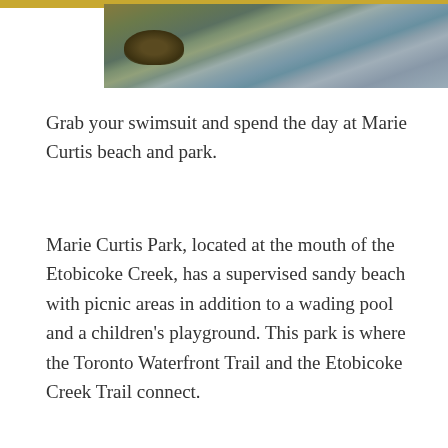[Figure (photo): A photo showing a body of water, likely a creek or lake, with rippling water and a duck or bird visible in the foreground. A gold/yellow bar appears at the top left of the page.]
Grab your swimsuit and spend the day at Marie Curtis beach and park.
Marie Curtis Park, located at the mouth of the Etobicoke Creek, has a supervised sandy beach with picnic areas in addition to a wading pool and a children's playground. This park is where the Toronto Waterfront Trail and the Etobicoke Creek Trail connect.